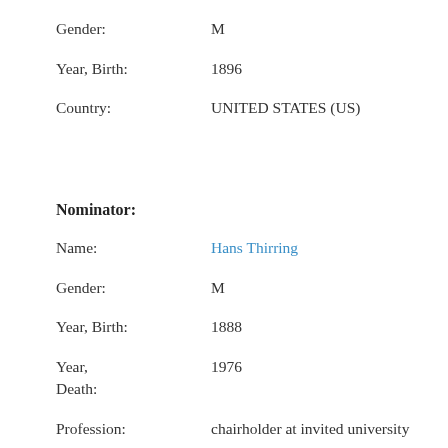Gender: M
Year, Birth: 1896
Country: UNITED STATES (US)
Nominator:
Name: Hans Thirring
Gender: M
Year, Birth: 1888
Year, Death: 1976
Profession: chairholder at invited university
Country: AUSTRIA (AT)